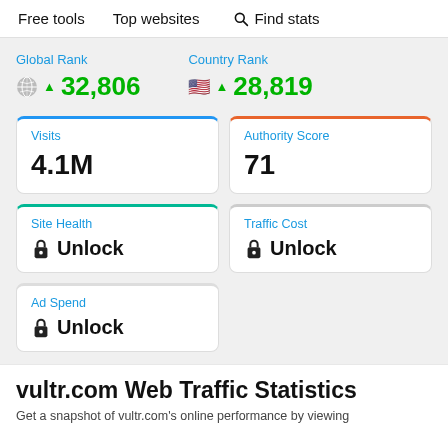Free tools   Top websites   Find stats
Global Rank
32,806
Country Rank
28,819
| Metric | Value |
| --- | --- |
| Visits | 4.1M |
| Authority Score | 71 |
| Site Health | Unlock |
| Traffic Cost | Unlock |
| Ad Spend | Unlock |
vultr.com Web Traffic Statistics
Get a snapshot of vultr.com's online performance by viewing